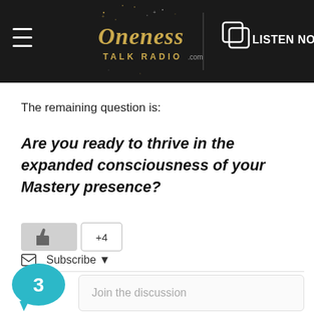[Figure (logo): Oneness Talk Radio .com logo with hamburger menu on the left and LISTEN NOW button on the right, on dark background]
The remaining question is:
Are you ready to thrive in the expanded consciousness of your Mastery presence?
[Figure (other): Like button with thumbs up icon and +4 count badge]
Subscribe ▼
[Figure (other): Teal chat bubble with number 3 inside]
Join the discussion